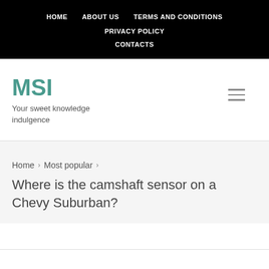HOME  ABOUT US  TERMS AND CONDITIONS  PRIVACY POLICY  CONTACTS
MSI
Your sweet knowledge indulgence
Home > Most popular > Where is the camshaft sensor on a Chevy Suburban?